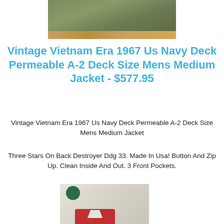[Figure (photo): Military olive green jacket folded flat, photographed on a wooden surface]
Vintage Vietnam Era 1967 Us Navy Deck Permeable A-2 Deck Size Mens Medium Jacket - $577.95
Vintage Vietnam Era 1967 Us Navy Deck Permeable A-2 Deck Size Mens Medium Jacket
Three Stars On Back Destroyer Ddg 33. Made In Usa! Button And Zip Up. Clean Inside And Out. 3 Front Pockets.
[Figure (photo): Close-up of jacket showing green circular emblem and red body with collar detail]